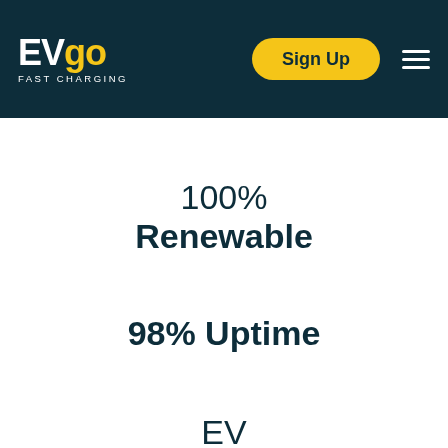EVgo FAST CHARGING — Sign Up
100%
Renewable
98% Uptime
EV